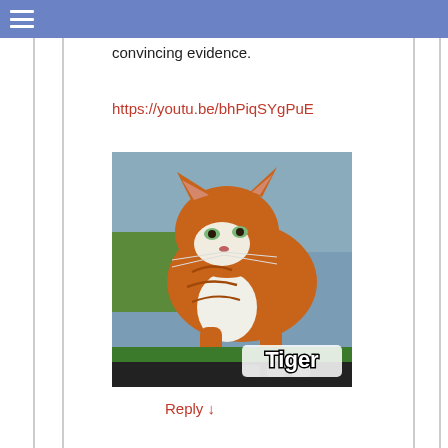convincing evidence.
https://youtu.be/bhPiqSYgPuE
[Figure (photo): An orange and white tabby cat standing on what appears to be a green vehicle surface, looking downward. The image has a text overlay reading 'Tiger' in bold white letters with a dark outline at the bottom left.]
Reply ↓